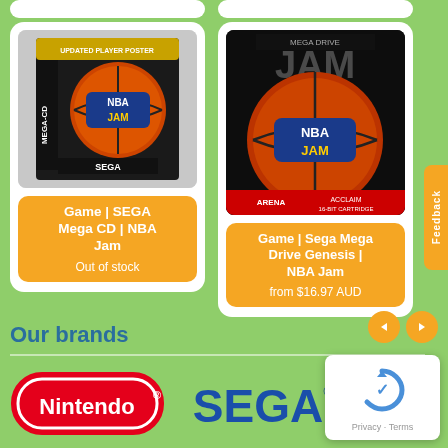[Figure (screenshot): E-commerce product listing page showing two NBA Jam game products. Left card: Game | SEGA Mega CD | NBA Jam (Out of stock). Right card: Game | Sega Mega Drive Genesis | NBA Jam (from $16.97 AUD). Below shows 'Our brands' section with Nintendo and Sega logos. A feedback tab is visible on the right side. A privacy/reCAPTCHA overlay is in the bottom right.]
Game | SEGA Mega CD | NBA Jam
Out of stock
Game | Sega Mega Drive Genesis | NBA Jam
from $16.97 AUD
Our brands
Privacy · Terms